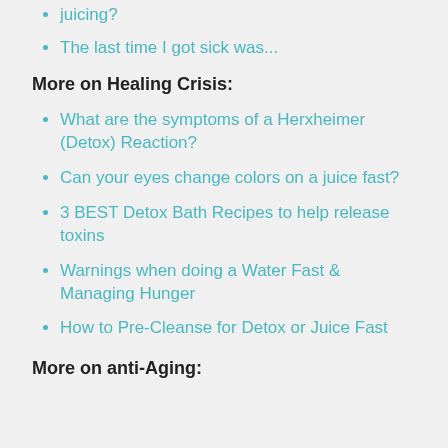juicing?
The last time I got sick was...
More on Healing Crisis:
What are the symptoms of a Herxheimer (Detox) Reaction?
Can your eyes change colors on a juice fast?
3 BEST Detox Bath Recipes to help release toxins
Warnings when doing a Water Fast & Managing Hunger
How to Pre-Cleanse for Detox or Juice Fast
More on anti-Aging: